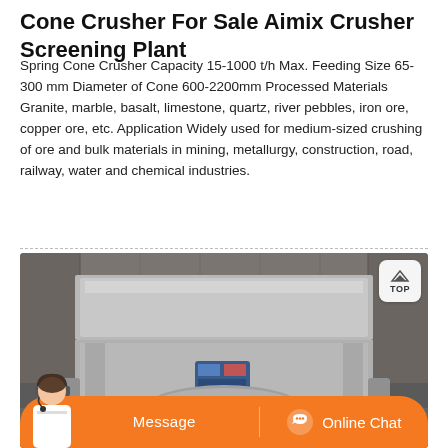Cone Crusher For Sale Aimix Crusher Screening Plant
Spring Cone Crusher Capacity 15-1000 t/h Max. Feeding Size 65-300 mm Diameter of Cone 600-2200mm Processed Materials Granite, marble, basalt, limestone, quartz, river pebbles, iron ore, copper ore, etc. Application Widely used for medium-sized crushing of ore and bulk materials in mining, metallurgy, construction, road, railway, water and chemical industries.
[Figure (photo): Close-up photo of a large industrial cone crusher machine with metallic silver/grey casing, showing the upper body and partial lower cone section. A small blue control panel is visible on the front face.]